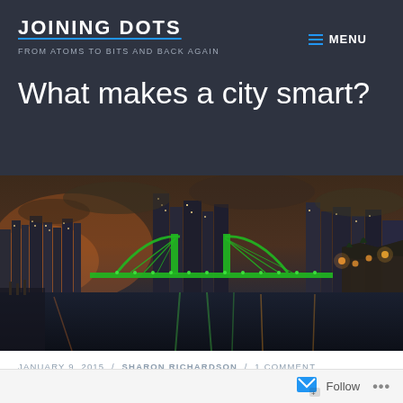JOINING DOTS
FROM ATOMS TO BITS AND BACK AGAIN
MENU
What makes a city smart?
[Figure (photo): Night cityscape panorama showing an illuminated green bridge over a river with city skyscrapers in the background under a dramatic cloudy sky]
JANUARY 9, 2015 / SHARON RICHARDSON / 1 COMMENT
Use of the phrase 'Smart City' has been dominated by
Follow ...